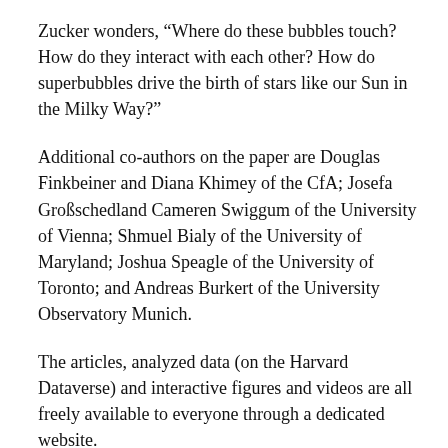Zucker wonders, “Where do these bubbles touch? How do they interact with each other? How do superbubbles drive the birth of stars like our Sun in the Milky Way?”
Additional co-authors on the paper are Douglas Finkbeiner and Diana Khimey of the CfA; Josefa Großschedland Cameren Swiggum of the University of Vienna; Shmuel Bialy of the University of Maryland; Joshua Speagle of the University of Toronto; and Andreas Burkert of the University Observatory Munich.
The articles, analyzed data (on the Harvard Dataverse) and interactive figures and videos are all freely available to everyone through a dedicated website.
The results were presented at a press conference of the American Astronomical Society (AAS) Wednesday afternoon. The public can watch a recording of the